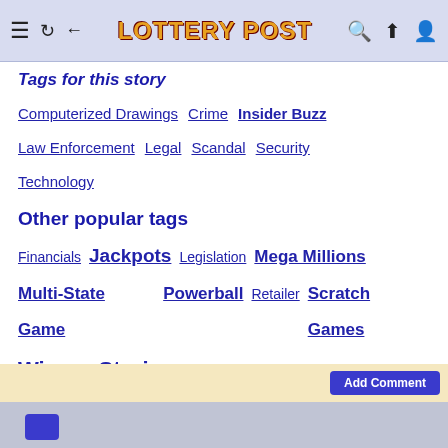Lottery Post
Tags for this story
Computerized Drawings
Crime
Insider Buzz
Law Enforcement
Legal
Scandal
Security
Technology
Other popular tags
Financials
Jackpots
Legislation
Mega Millions
Multi-State Game
Powerball
Retailer
Scratch Games
Winner Stories
Winning Ticket Announcement
More »
Comments